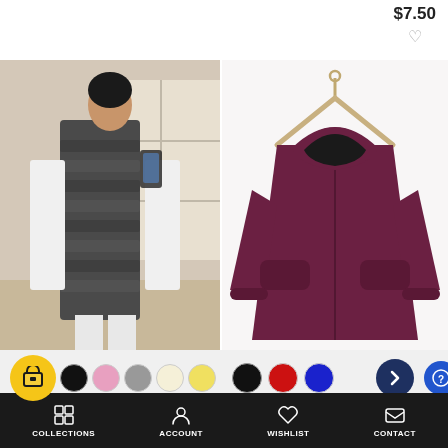$7.50
[Figure (photo): Woman wearing a long sleeveless dark gray faux fur coat/vest in a room setting]
[Figure (photo): Dark maroon/burgundy hooded zipper coat on a hanger with black fleece lining]
Color swatches: black, pink, gray, cream, yellow (left product)
Color swatches: black, red, blue (right product)
r Sleeveless Long Coat Solid Color Thicken Fuzzy Wholesale Clothing For Women SOU95129
Fashion Hooded Zipper Coat Solid Color Long Sleeve Thick Wholesale Womens Coats SOU95132
COLLECTIONS   ACCOUNT   WISHLIST   CONTACT